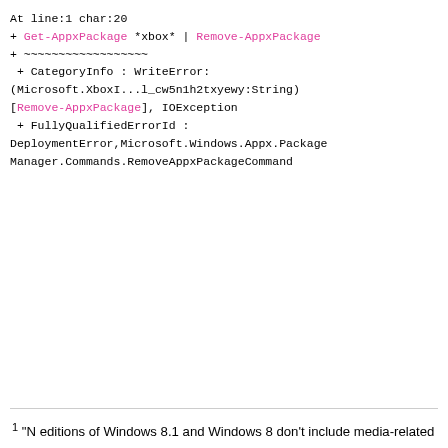At line:1 char:20
+ Get-AppxPackage *xbox* | Remove-AppxPackage
+ ~~~~~~~~~~~~~~~~~~
 + CategoryInfo : WriteError: (Microsoft.XboxI...l_cw5n1h2txyewy:String) [Remove-AppxPackage], IOException
 + FullyQualifiedErrorId : DeploymentError,Microsoft.Windows.Appx.PackageManager.Commands.RemoveAppxPackageCommand
1 "N editions of Windows 8.1 and Windows 8 don't include media-related technologies like Windows Media Player or Camera. To play or create audio CDs, digital media files, and video DVDs; organize content in a media library; create playlists; convert audio CDs to digital media files; view artist and title information of digital media files; view album art of music files; transfer music to personal music players; or record and play back TV broadcasts after Windows 8.1 or Windows 8 is installed, you'll need to install a media pack or the